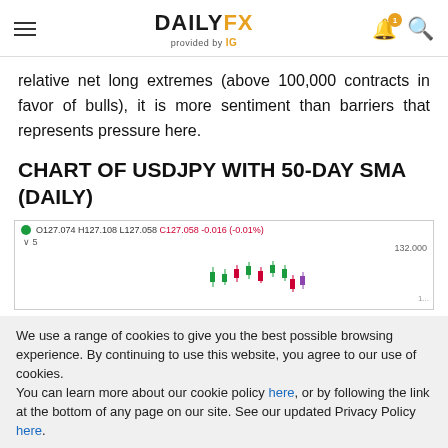DAILYFX provided by IG
relative net long extremes (above 100,000 contracts in favor of bulls), it is more sentiment than barriers that represents pressure here.
CHART OF USDJPY WITH 50-DAY SMA (DAILY)
[Figure (screenshot): Partial candlestick chart of USDJPY showing OHLC data: O127.074 H127.108 L127.058 C127.058 -0.016 (-0.01%), with price scale showing 132.000, and candlestick bars visible in the upper right area of the chart.]
We use a range of cookies to give you the best possible browsing experience. By continuing to use this website, you agree to our use of cookies.
You can learn more about our cookie policy here, or by following the link at the bottom of any page on our site. See our updated Privacy Policy here.
Accept